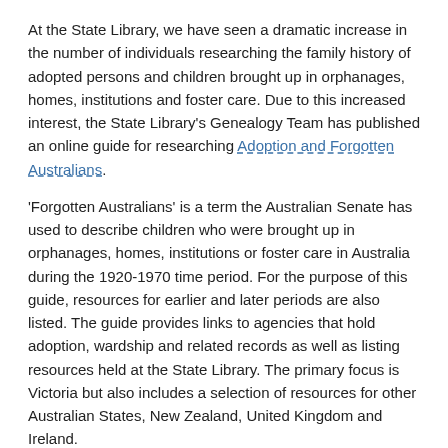At the State Library, we have seen a dramatic increase in the number of individuals researching the family history of adopted persons and children brought up in orphanages, homes, institutions and foster care. Due to this increased interest, the State Library's Genealogy Team has published an online guide for researching Adoption and Forgotten Australians.
'Forgotten Australians' is a term the Australian Senate has used to describe children who were brought up in orphanages, homes, institutions or foster care in Australia during the 1920-1970 time period. For the purpose of this guide, resources for earlier and later periods are also listed. The guide provides links to agencies that hold adoption, wardship and related records as well as listing resources held at the State Library. The primary focus is Victoria but also includes a selection of resources for other Australian States, New Zealand, United Kingdom and Ireland.
The State Library holds many resources that can be used to research these topics, including material held in the Genealogy, Manuscripts, Pictures, La Trobe and Redmond Barry collections.
Some collection highlights include: